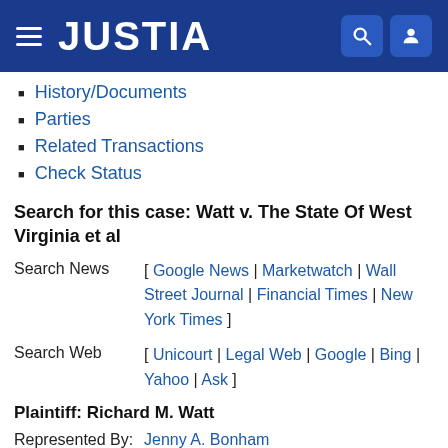JUSTIA
History/Documents
Parties
Related Transactions
Check Status
Search for this case: Watt v. The State Of West Virginia et al
Search News [ Google News | Marketwatch | Wall Street Journal | Financial Times | New York Times ]
Search Web [ Unicourt | Legal Web | Google | Bing | Yahoo | Ask ]
Plaintiff: Richard M. Watt
Represented By: Jenny A. Bonham
Search News [ Google News | Marketwatch | Wall